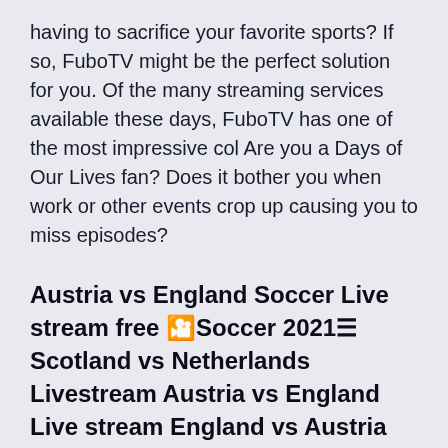having to sacrifice your favorite sports? If so, FuboTV might be the perfect solution for you. Of the many streaming services available these days, FuboTV has one of the most impressive col Are you a Days of Our Lives fan? Does it bother you when work or other events crop up causing you to miss episodes?
Austria vs England Soccer Live stream free 🎦Soccer 2021☰ Scotland vs Netherlands Livestream Austria vs England Live stream England vs Austria Live stream stream watch International Friendlies 2021 Live stream free tv